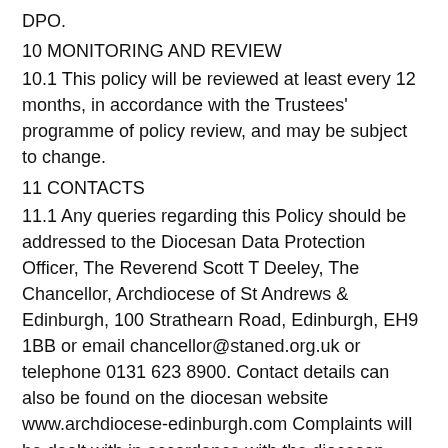DPO.
10 MONITORING AND REVIEW
10.1 This policy will be reviewed at least every 12 months, in accordance with the Trustees' programme of policy review, and may be subject to change.
11 CONTACTS
11.1 Any queries regarding this Policy should be addressed to the Diocesan Data Protection Officer, The Reverend Scott T Deeley, The Chancellor, Archdiocese of St Andrews & Edinburgh, 100 Strathearn Road, Edinburgh, EH9 1BB or email chancellor@staned.org.uk or telephone 0131 623 8900. Contact details can also be found on the diocesan website www.archdiocese-edinburgh.com Complaints will be dealt with in accordance with the diocesan Complaints Policy. Further advice and information can be obtained from the Information Commissioner's Office at